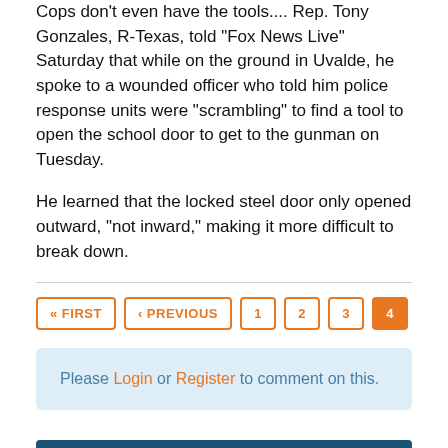Cops don't even have the tools.... Rep. Tony Gonzales, R-Texas, told "Fox News Live" Saturday that while on the ground in Uvalde, he spoke to a wounded officer who told him police response units were "scrambling" to find a tool to open the school door to get to the gunman on Tuesday.
He learned that the locked steel door only opened outward, "not inward," making it more difficult to break down.
« FIRST  « PREVIOUS  1  2  3  4
Please Login or Register to comment on this.
'Top 100 Players of 2022': Matthew Stafford No. 27